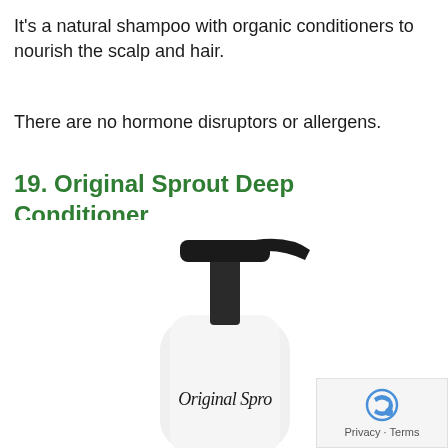It's a natural shampoo with organic conditioners to nourish the scalp and hair.
There are no hormone disruptors or allergens.
19. Original Sprout Deep Conditioner
[Figure (photo): A white pump bottle of Original Sprout product with a black pump top, partially cropped, showing the brand name 'Original Sprout' on the label.]
Privacy · Terms